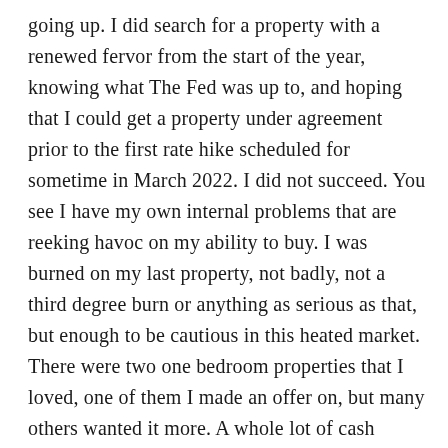going up. I did search for a property with a renewed fervor from the start of the year, knowing what The Fed was up to, and hoping that I could get a property under agreement prior to the first rate hike scheduled for sometime in March 2022. I did not succeed. You see I have my own internal problems that are reeking havoc on my ability to buy. I was burned on my last property, not badly, not a third degree burn or anything as serious as that, but enough to be cautious in this heated market. There were two one bedroom properties that I loved, one of them I made an offer on, but many others wanted it more. A whole lot of cash makes its way to our city and it's not my kind of cash, it's the kind of cash that doesn't bother to consider interest rate hikes because they don't subject themselves to them. Damn you cash buyers – I hope to be you someday!